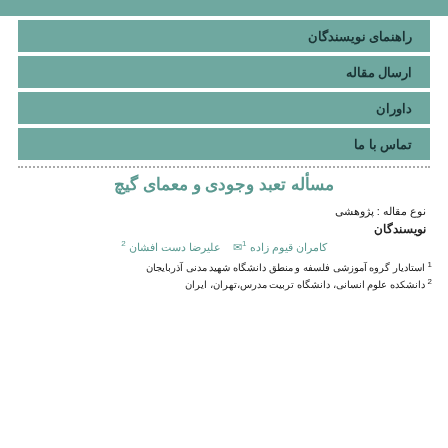راهنمای نویسندگان
ارسال مقاله
داوران
تماس با ما
مسأله تعبد وجودی و معمای گیچ
نوع مقاله : پژوهشی
نویسندگان
کامران قیوم زاده 1  علیرضا دست افشان 2
1 استادیار گروه آموزشی فلسفه و منطق دانشگاه شهید مدنی آذربایجان
2 دانشکده علوم انسانی، دانشگاه تربیت مدرس،تهران، ایران